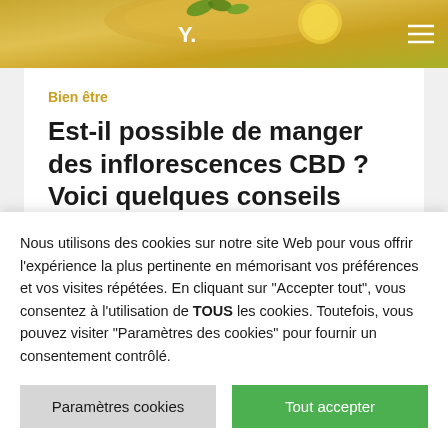[Figure (photo): Top banner image showing food on a wooden plate with green herbs/leaves and a yellow lemon or citrus element, with a logo Y on the left and hamburger menu icon on the right]
Bien être
Est-il possible de manger des inflorescences CBD ? Voici quelques conseils
4 mai 2021 17:51 C'est vraiment
Nous utilisons des cookies sur notre site Web pour vous offrir l'expérience la plus pertinente en mémorisant vos préférences et vos visites répétées. En cliquant sur "Accepter tout", vous consentez à l'utilisation de TOUS les cookies. Toutefois, vous pouvez visiter "Paramètres des cookies" pour fournir un consentement contrôlé.